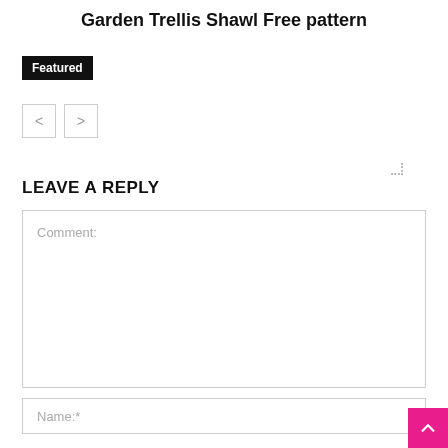Garden Trellis Shawl Free pattern
Featured
[Figure (other): Navigation buttons: left arrow (<) and right arrow (>)]
LEAVE A REPLY
Comment:
Name:*